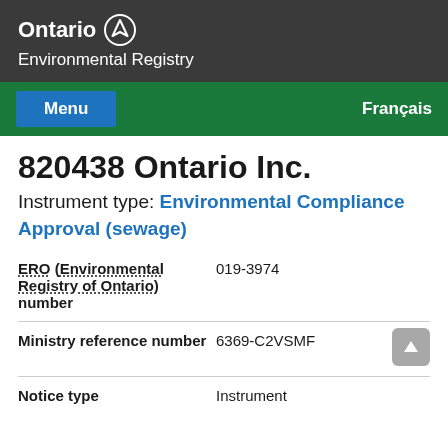Ontario Environmental Registry
820438 Ontario Inc.
Instrument type: Environmental Compliance Approval (sewage)
| Field | Value |
| --- | --- |
| ERO (Environmental Registry of Ontario) number | 019-3974 |
| Ministry reference number | 6369-C2VSMF |
| Notice type | Instrument |